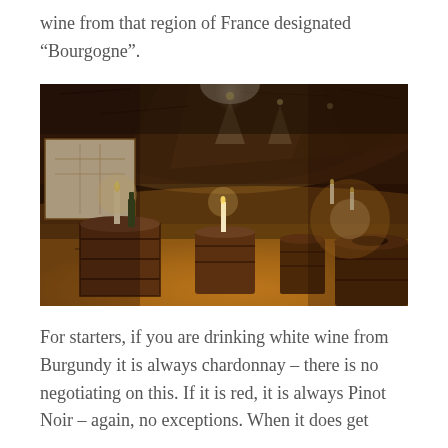wine from that region of France designated “Bourgogne”.
[Figure (photo): A dimly lit stone wine cellar corridor with barrel tables topped with candles and wine bottles, wooden barrels along the sides, warm amber lighting from spotlights above.]
For starters, if you are drinking white wine from Burgundy it is always chardonnay – there is no negotiating on this. If it is red, it is always Pinot Noir – again, no exceptions. When it does get